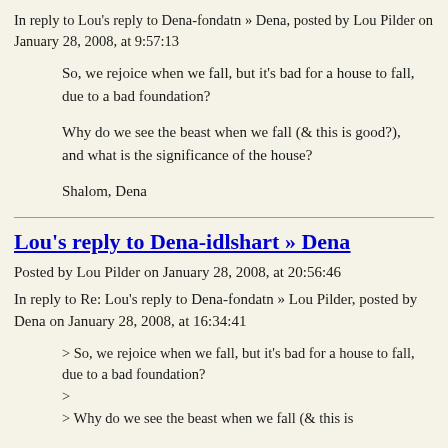In reply to Lou's reply to Dena-fondatn » Dena, posted by Lou Pilder on January 28, 2008, at 9:57:13
So, we rejoice when we fall, but it's bad for a house to fall, due to a bad foundation?
Why do we see the beast when we fall (& this is good?), and what is the significance of the house?
Shalom, Dena
Lou's reply to Dena-idlshart » Dena
Posted by Lou Pilder on January 28, 2008, at 20:56:46
In reply to Re: Lou's reply to Dena-fondatn » Lou Pilder, posted by Dena on January 28, 2008, at 16:34:41
> So, we rejoice when we fall, but it's bad for a house to fall, due to a bad foundation?
>
> Why do we see the beast when we fall (& this is